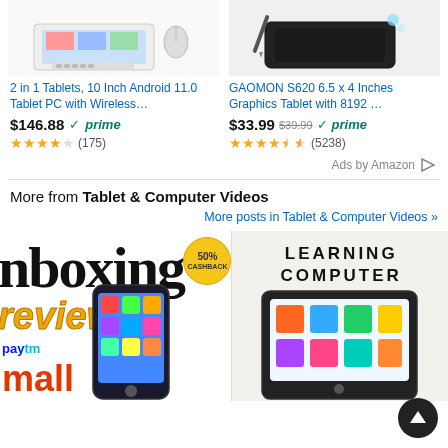[Figure (screenshot): Product image for 2 in 1 Tablets - partial top of image visible]
[Figure (screenshot): Product image for GAOMON S620 graphics tablet - partial top of image visible]
2 in 1 Tablets, 10 Inch Android 11.0 Tablet PC with Wireless…
GAOMON S620 6.5 x 4 Inches Graphics Tablet with 8192 …
$146.88 prime
$33.99 $39.99 prime
★★★★☆ (175)
★★★★½ (5238)
Ads by Amazon
More from Tablet & Computer Videos
More posts in Tablet & Computer Videos »
[Figure (screenshot): Thumbnail showing 'nboxing' text with cashback circles (50% cashback, 40% cashback), review/paytm mall text, and a phone image]
[Figure (screenshot): Thumbnail showing 'LEARNING COMPUTER' text on light background with tablet device]